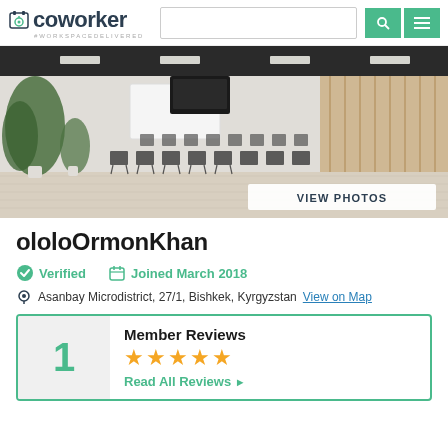coworker #WORKSPACEDELIVERED
[Figure (photo): Interior of coworking space with rows of chairs and tables, plants, whiteboard, TV screen, and wooden accent wall]
ololoOrmonKhan
Verified    Joined March 2018
Asanbay Microdistrict, 27/1, Bishkek, Kyrgyzstan View on Map
| 1 | Member Reviews | ★★★★★ | Read All Reviews ▶ |